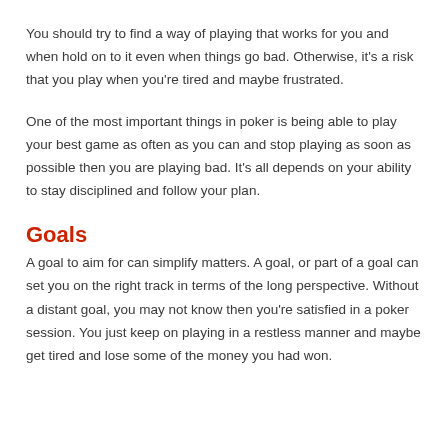You should try to find a way of playing that works for you and when hold on to it even when things go bad. Otherwise, it's a risk that you play when you're tired and maybe frustrated.
One of the most important things in poker is being able to play your best game as often as you can and stop playing as soon as possible then you are playing bad. It's all depends on your ability to stay disciplined and follow your plan.
Goals
A goal to aim for can simplify matters. A goal, or part of a goal can set you on the right track in terms of the long perspective. Without a distant goal, you may not know then you're satisfied in a poker session. You just keep on playing in a restless manner and maybe get tired and lose some of the money you had won.